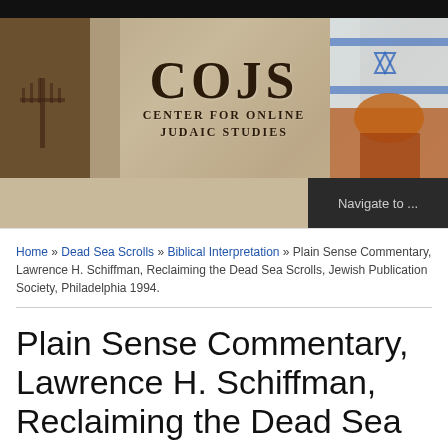[Figure (illustration): COJS Center for Online Judaic Studies banner with historical imagery including a menorah, a figure in a turban, Israeli flag with Star of David, and the Dome of the Rock]
Navigate to ...
Home » Dead Sea Scrolls » Biblical Interpretation » Plain Sense Commentary, Lawrence H. Schiffman, Reclaiming the Dead Sea Scrolls, Jewish Publication Society, Philadelphia 1994.
Plain Sense Commentary, Lawrence H. Schiffman, Reclaiming the Dead Sea Scrolls, Jewish Publication Society,